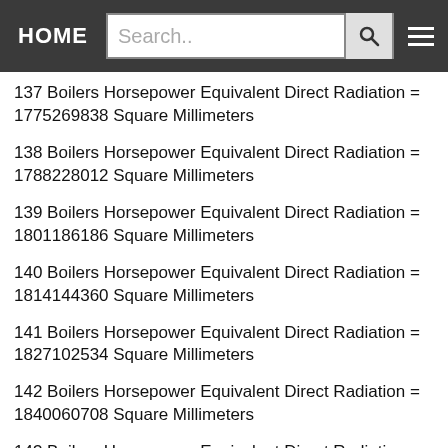HOME | Search..
137 Boilers Horsepower Equivalent Direct Radiation = 1775269838 Square Millimeters
138 Boilers Horsepower Equivalent Direct Radiation = 1788228012 Square Millimeters
139 Boilers Horsepower Equivalent Direct Radiation = 1801186186 Square Millimeters
140 Boilers Horsepower Equivalent Direct Radiation = 1814144360 Square Millimeters
141 Boilers Horsepower Equivalent Direct Radiation = 1827102534 Square Millimeters
142 Boilers Horsepower Equivalent Direct Radiation = 1840060708 Square Millimeters
143 Boilers Horsepower Equivalent Direct Radiation = 1853018882 Square Millimeters